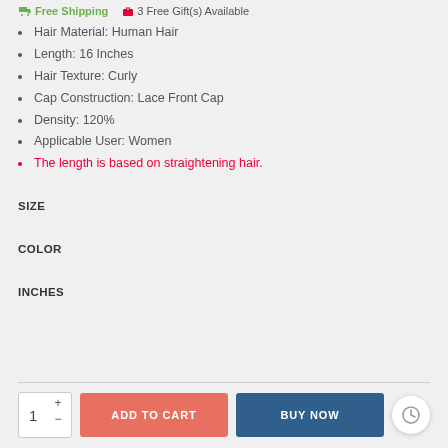Free Shipping   3 Free Gift(s) Available
Hair Material: Human Hair
Length: 16 Inches
Hair Texture: Curly
Cap Construction: Lace Front Cap
Density: 120%
Applicable User: Women
The length is based on straightening hair.
SIZE
COLOR
INCHES